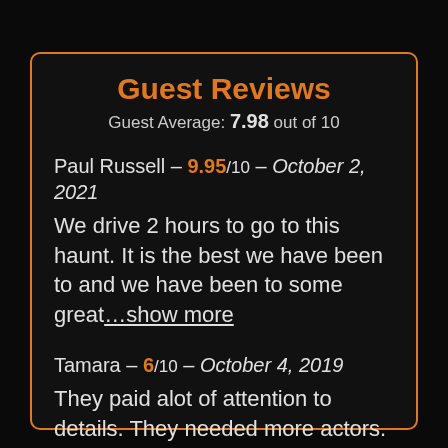Guest Reviews
Guest Average: 7.98 out of 10
Paul Russell – 9.95/10 – October 2, 2021
We drive 2 hours to go to this haunt. It is the best we have been to and we have been to some great …show more
Tamara – 6/10 – October 4, 2019
They paid alot of attention to details. They needed more actors. We bought the VIP pass which was …show more